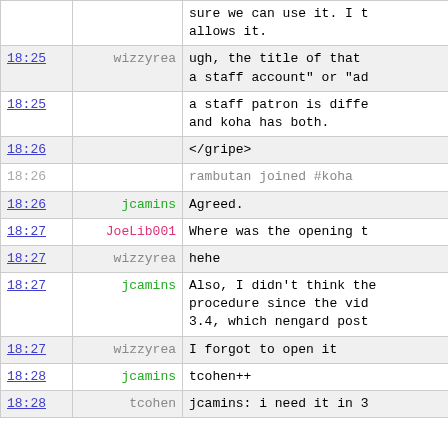| Time | User | Message |
| --- | --- | --- |
|  |  | sure we can use it. I t allows it. |
| 18:25 | wizzyrea | ugh, the title of that a staff account" or "ad |
| 18:25 |  | a staff patron is diffe and koha has both. |
| 18:26 |  | </gripe> |
| 18:26 |  | rambutan joined #koha |
| 18:26 | jcamins | Agreed. |
| 18:27 | JoeLib001 | Where was the opening t |
| 18:27 | wizzyrea | hehe |
| 18:27 | jcamins | Also, I didn't think the procedure since the vid 3.4, which nengard post |
| 18:27 | wizzyrea | I forgot to open it |
| 18:28 | jcamins | tcohen++ |
| 18:28 | tcohen | jcamins: i need it in 3 |